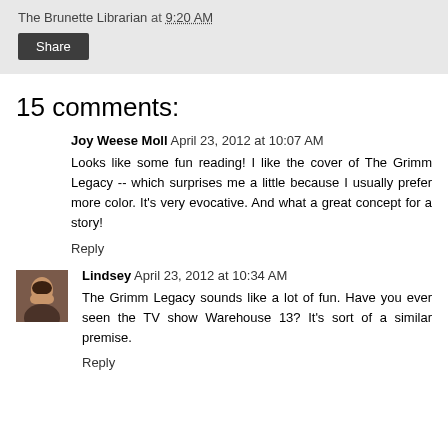The Brunette Librarian at 9:20 AM
Share
15 comments:
Joy Weese Moll April 23, 2012 at 10:07 AM
Looks like some fun reading! I like the cover of The Grimm Legacy -- which surprises me a little because I usually prefer more color. It's very evocative. And what a great concept for a story!
Reply
Lindsey April 23, 2012 at 10:34 AM
The Grimm Legacy sounds like a lot of fun. Have you ever seen the TV show Warehouse 13? It's sort of a similar premise.
Reply